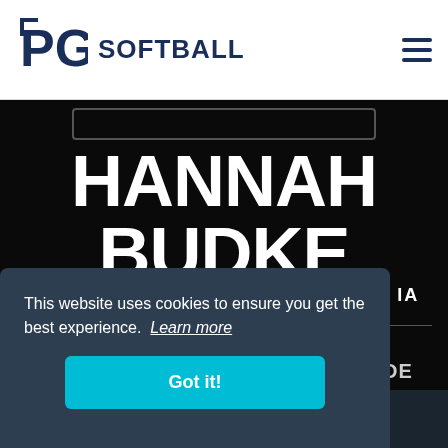PG SOFTBALL
HANNAH BUDKE
2023 GRAD | OF | CEDAR FALLS, IA
UNCOMMITTED
NO PG GRADE
ABOUT PG GRADES
This website uses cookies to ensure you get the best experience. Learn more
Got it!